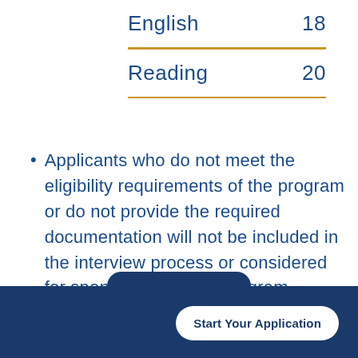| Subject | Score |
| --- | --- |
| English | 18 |
| Reading | 20 |
Applicants who do not meet the eligibility requirements of the program or do not provide the required documentation will not be included in the interview process or considered for sponsorship in the program.
Start Your Application